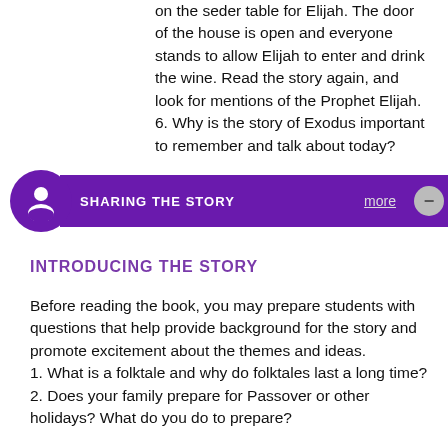on the seder table for Elijah. The door of the house is open and everyone stands to allow Elijah to enter and drink the wine. Read the story again, and look for mentions of the Prophet Elijah.
6. Why is the story of Exodus important to remember and talk about today?
SHARING THE STORY
INTRODUCING THE STORY
Before reading the book, you may prepare students with questions that help provide background for the story and promote excitement about the themes and ideas.
1. What is a folktale and why do folktales last a long time?
2. Does your family prepare for Passover or other holidays? What do you do to prepare?